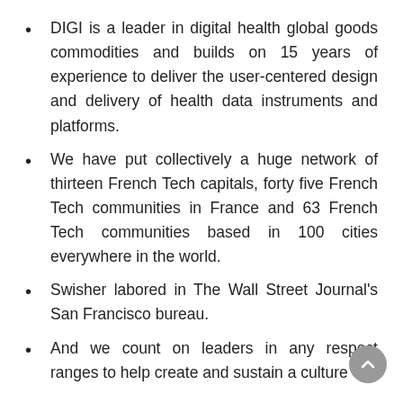DIGI is a leader in digital health global goods commodities and builds on 15 years of experience to deliver the user-centered design and delivery of health data instruments and platforms.
We have put collectively a huge network of thirteen French Tech capitals, forty five French Tech communities in France and 63 French Tech communities based in 100 cities everywhere in the world.
Swisher labored in The Wall Street Journal's San Francisco bureau.
And we count on leaders in any respect ranges to help create and sustain a culture